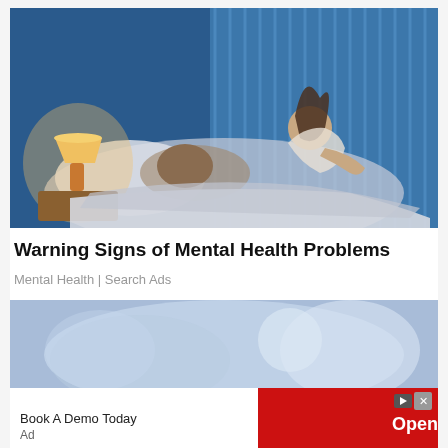[Figure (photo): Woman sitting up in bed at night, unable to sleep, with a bedside lamp glowing warm light. Man lying asleep beside her. Blue-toned background with vertical blinds.]
Warning Signs of Mental Health Problems
Mental Health | Search Ads
[Figure (photo): Blurred blue-toned photo, appears to show soft objects, advertisement image background.]
Book A Demo Today
Open
Ad